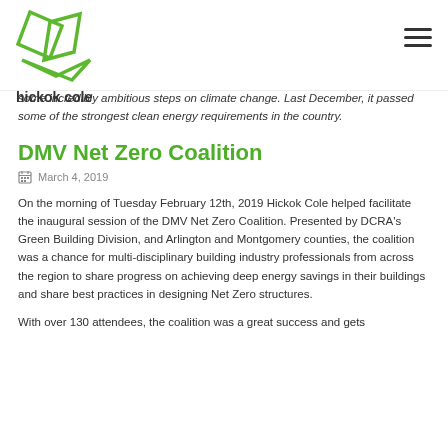[Figure (logo): Hickok Cole logo - green geometric shapes with company name]
some incredibly ambitious steps on climate change. Last December, it passed some of the strongest clean energy requirements in the country.
DMV Net Zero Coalition
March 4, 2019
On the morning of Tuesday February 12th, 2019 Hickok Cole helped facilitate the inaugural session of the DMV Net Zero Coalition. Presented by DCRA's Green Building Division, and Arlington and Montgomery counties, the coalition was a chance for multi-disciplinary building industry professionals from across the region to share progress on achieving deep energy savings in their buildings and share best practices in designing Net Zero structures.
With over 130 attendees, the coalition was a great success and gets momentum along the road for the action we want to achieve.